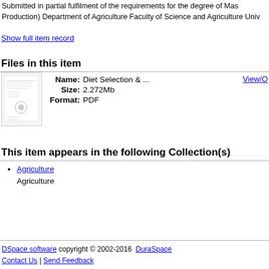Submitted in partial fulfilment of the requirements for the degree of Mas Production) Department of Agriculture Faculty of Science and Agriculture Univ
Show full item record
Files in this item
[Figure (other): Thumbnail image of a document cover page]
Name: Diet Selection & ...
Size: 2.272Mb
Format: PDF
View/O
This item appears in the following Collection(s)
Agriculture
Agriculture
DSpace software copyright © 2002-2016  DuraSpace
Contact Us | Send Feedback